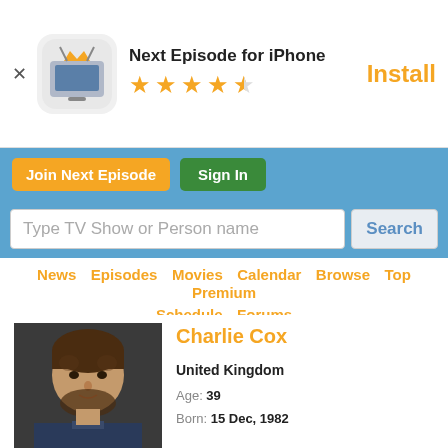[Figure (screenshot): App ad banner: Next Episode for iPhone app icon (TV with crown), 4.5 star rating, Install button]
Next Episode for iPhone
[Figure (infographic): Orange star rating: 4.5 stars]
Install
Join Next Episode
Sign In
Type TV Show or Person name
Search
News  Episodes  Movies  Calendar  Browse  Top  Premium  Schedule  Forums
[Figure (photo): Photo of Charlie Cox, a man with brown hair and beard wearing a dark denim shirt]
Charlie Cox
United Kingdom
Age: 39
Born: 15 Dec, 1982